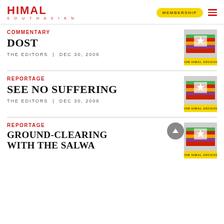HIMAL SOUTHASIAN | MEMBERSHIP
COMMENTARY
DOST
THE EDITORS | DEC 30, 2008
[Figure (illustration): Stack of Himal Southasian magazines with 'FROM HIMAL ARCHIVES' label]
REPORTAGE
SEE NO SUFFERING
THE EDITORS | DEC 30, 2008
[Figure (illustration): Stack of Himal Southasian magazines with 'FROM HIMAL ARCHIVES' label]
REPORTAGE
GROUND-CLEARING WITH THE SALWA
[Figure (illustration): Stack of Himal Southasian magazines with 'FROM HIMAL ARCHIVES' label]